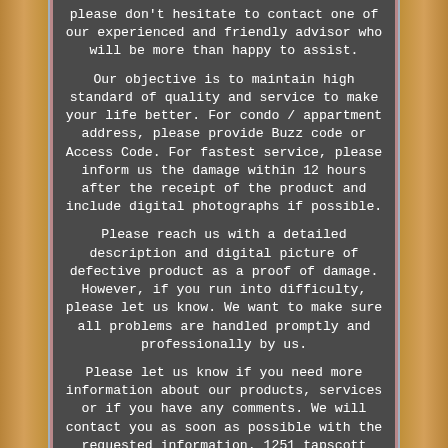please don't hesitate to contact one of our experienced and friendly advisor who will be more than happy to assist.
Our objective is to maintain high standard of quality and service to make your life better. For condo / appartment address, please provide Buzz code or Access Code. For fastest service, please inform us the damage within 12 hours after the receipt of the product and include digital photographs if possible.
Please reach us with a detailed description and digital picture of defective product as a proof of damage. However, if you run into difficulty, please let us know. We want to make sure all problems are handled promptly and professionally by us.
Please let us know if you need more information about our products, services or if you have any comments. We will contact you as soon as possible with the requested information. 1251 tapscott Road, Unit 101, Scarborough, ON, M1X 1S9. Unit A, 5590 Finch Avenue East Scarborough / Toronto ON, M1B 1T1. The item "Dressing Makeup Table Set Wooden 3 Drawer Stool Mirror Cushion Home Furniture" is in sale since Friday, July 8, 2016.